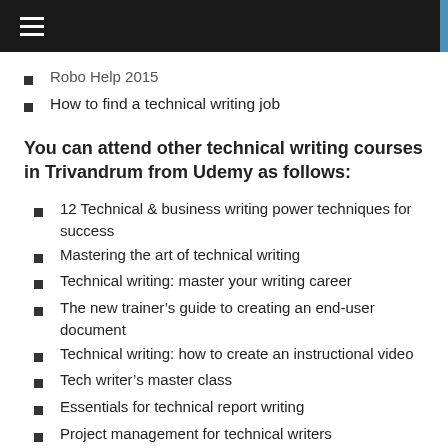Robo Help 2015
How to find a technical writing job
You can attend other technical writing courses in Trivandrum from Udemy as follows:
12 Technical & business writing power techniques for success
Mastering the art of technical writing
Technical writing: master your writing career
The new trainer’s guide to creating an end-user document
Technical writing: how to create an instructional video
Tech writer’s master class
Essentials for technical report writing
Project management for technical writers